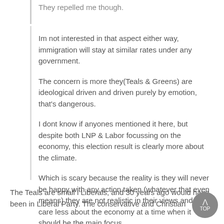They repelled me though.
Im not interested in that aspect either way, immigration will stay at similar rates under any government.
The concern is more they(Teals & Greens) are ideological driven and driven purely by emotion, that's dangerous.
I dont know if anyones mentioned it here, but despite both LNP & Labor focussing on the economy, this election result is clearly more about the climate.
Which is scary because the reality is they will never be happy with any action taken (whatever that even means) they are not realistic in their views and wont care less about the economy at a time when it should be the main focus.
The Teals are small l Liberals, and 30 years ago would have been in Liberal Party. The conservative and Christian